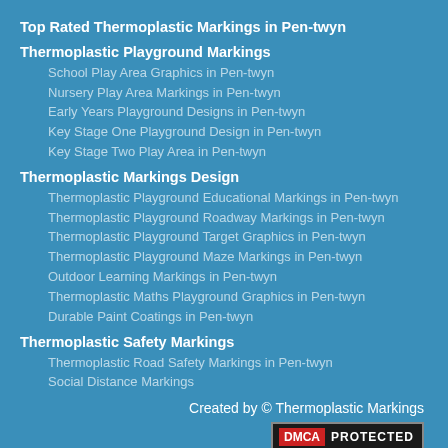Top Rated Thermoplastic Markings in Pen-twyn
Thermoplastic Playground Markings
School Play Area Graphics in Pen-twyn
Nursery Play Area Markings in Pen-twyn
Early Years Playground Designs in Pen-twyn
Key Stage One Playground Design in Pen-twyn
Key Stage Two Play Area in Pen-twyn
Thermoplastic Markings Design
Thermoplastic Playground Educational Markings in Pen-twyn
Thermoplastic Playground Roadway Markings in Pen-twyn
Thermoplastic Playground Target Graphics in Pen-twyn
Thermoplastic Playground Maze Markings in Pen-twyn
Outdoor Learning Markings in Pen-twyn
Thermoplastic Maths Playground Graphics in Pen-twyn
Durable Paint Coatings in Pen-twyn
Thermoplastic Safety Markings
Thermoplastic Road Safety Markings in Pen-twyn
Social Distance Markings
Created by © Thermoplastic Markings